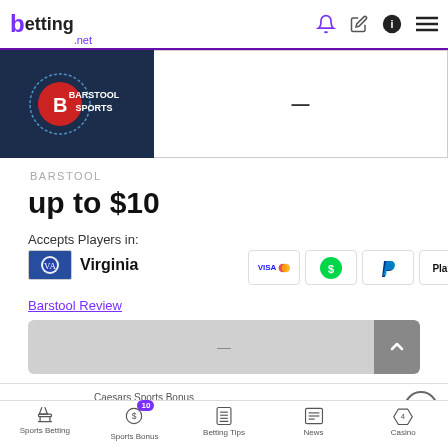betting.net
[Figure (logo): Barstool Sports logo on dark navy background]
BARSTOOL
up to $10
Accepts Players in:
Virginia
[Figure (infographic): Payment method icons: Visa/Mastercard, cash app green circle, PayPal, Play+]
Barstool Review
[Figure (infographic): Grey button bar with scroll arrow]
Caesars Sports Bonus
100% up to $1500
Sports Betting | Sports Bonus 10 | Betting Tips | News | Casino